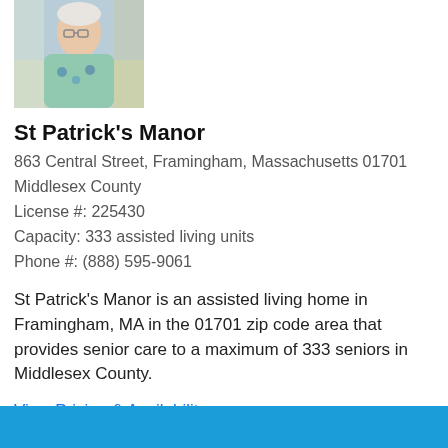[Figure (photo): Photo of an elderly woman smiling, wearing a floral top, indoors]
St Patrick's Manor
863 Central Street, Framingham, Massachusetts 01701
Middlesex County
License #: 225430
Capacity: 333 assisted living units
Phone #: (888) 595-9061
St Patrick's Manor is an assisted living home in Framingham, MA in the 01701 zip code area that provides senior care to a maximum of 333 seniors in Middlesex County.
View Pricing & Availability
[Figure (other): Five green star rating icons]